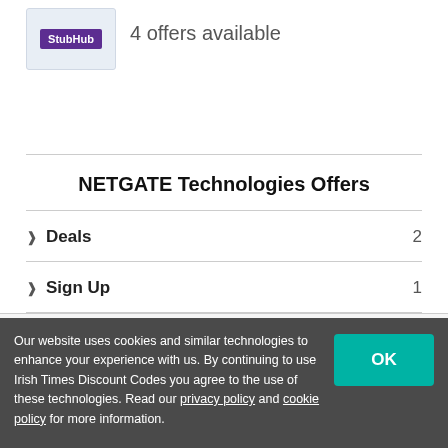[Figure (logo): StubHub logo badge in purple on light blue background]
4 offers available
NETGATE Technologies Offers
Deals  2
Sign Up  1
Privacy Policy   Cookie Policy   Contact Us
Our website uses cookies and similar technologies to enhance your experience with us. By continuing to use Irish Times Discount Codes you agree to the use of these technologies. Read our privacy policy and cookie policy for more information.